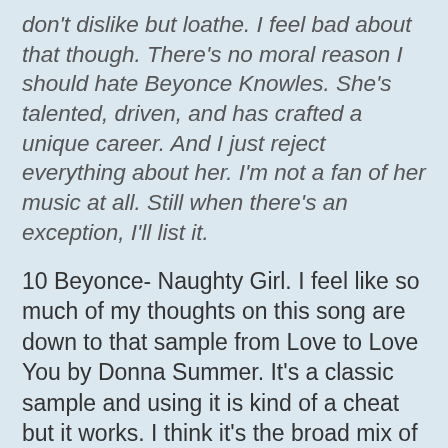don't dislike but loathe. I feel bad about that though. There's no moral reason I should hate Beyonce Knowles. She's talented, driven, and has crafted a unique career. And I just reject everything about her. I'm not a fan of her music at all. Still when there's an exception, I'll list it.
10 Beyonce- Naughty Girl. I feel like so much of my thoughts on this song are down to that sample from Love to Love You by Donna Summer. It's a classic sample and using it is kind of a cheat but it works. I think it's the broad mix of elements at play that truly shine. The chorus turns. And it is Sommer that keeps The